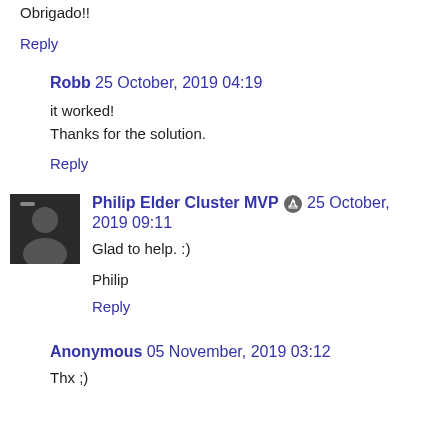Obrigado!!
Reply
Robb  25 October, 2019 04:19
it worked!
Thanks for the solution.
Reply
Philip Elder Cluster MVP  25 October, 2019 09:11
Glad to help. :)
Philip
Reply
Anonymous  05 November, 2019 03:12
Thx ;)